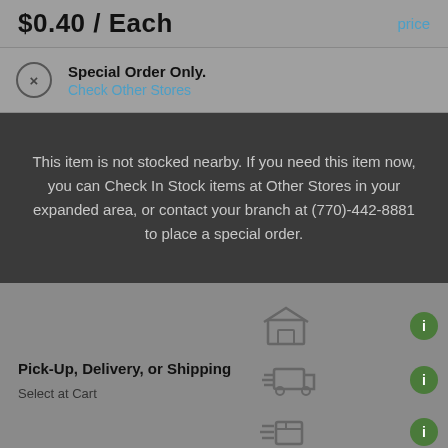$0.40 / Each
price
Special Order Only. Check Other Stores
This item is not stocked nearby. If you need this item now, you can Check In Stock items at Other Stores in your expanded area, or contact your branch at (770)-442-8881 to place a special order.
Pick-Up, Delivery, or Shipping
Select at Cart